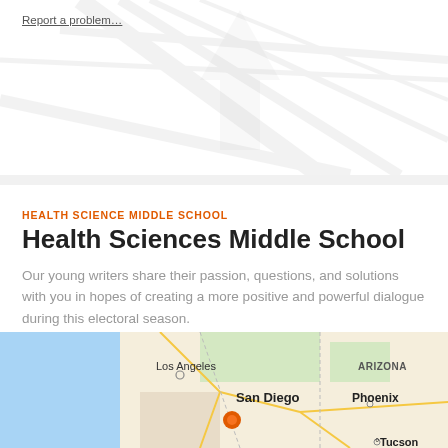Report a problem…
[Figure (map): Partial aerial/map background image visible at top of page, light gray road/map imagery]
HEALTH SCIENCE MIDDLE SCHOOL
Health Sciences Middle School
Our young writers share their passion, questions, and solutions with you in hopes of creating a more positive and powerful dialogue during this electoral season.
[Figure (map): Google Maps view showing southwestern US including Los Angeles, San Diego (with orange location pin), Phoenix, Tucson, and Arizona label. Blue ocean on left.]